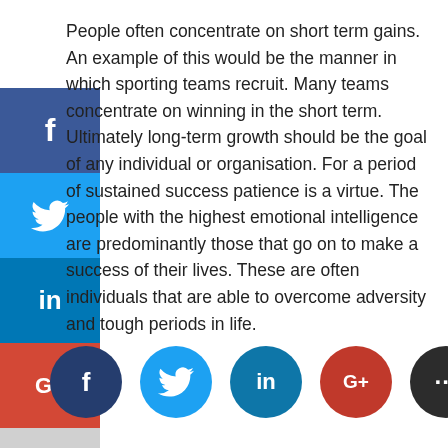People often concentrate on short term gains. An example of this would be the manner in which sporting teams recruit. Many teams concentrate on winning in the short term. Ultimately long-term growth should be the goal of any individual or organisation. For a period of sustained success patience is a virtue. The people with the highest emotional intelligence are predominantly those that go on to make a success of their lives. These are often individuals that are able to overcome adversity and tough periods in life.
[Figure (infographic): Vertical sidebar with four social media share buttons (Facebook, Twitter, LinkedIn, Google+) and a more (…) button, rendered as colored rectangular panels on the left edge of the page.]
[Figure (infographic): Row of five circular social media share buttons at the bottom: Facebook (dark blue), Twitter (light blue), LinkedIn (blue), Google+ (red), More/ellipsis (dark grey).]